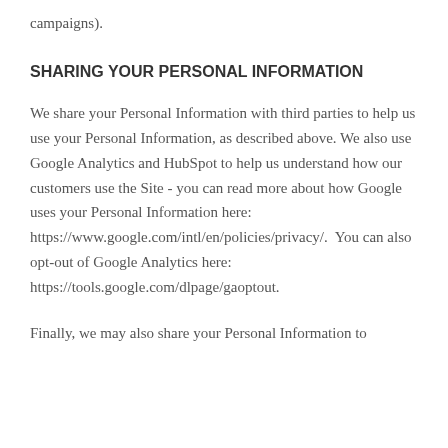campaigns).
SHARING YOUR PERSONAL INFORMATION
We share your Personal Information with third parties to help us use your Personal Information, as described above. We also use Google Analytics and HubSpot to help us understand how our customers use the Site - you can read more about how Google uses your Personal Information here: https://www.google.com/intl/en/policies/privacy/.  You can also opt-out of Google Analytics here: https://tools.google.com/dlpage/gaoptout.
Finally, we may also share your Personal Information to